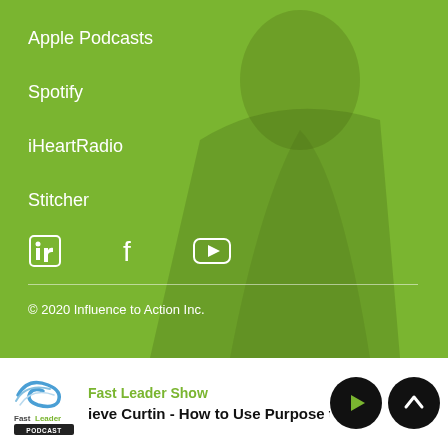[Figure (photo): Green overlay background with person silhouette]
Apple Podcasts
Spotify
iHeartRadio
Stitcher
[Figure (illustration): Social media icons: LinkedIn, Facebook, YouTube]
© 2020 Influence to Action Inc.
[Figure (logo): Fast Leader Podcast logo]
Fast Leader Show
ieve Curtin - How to Use Purpose to I